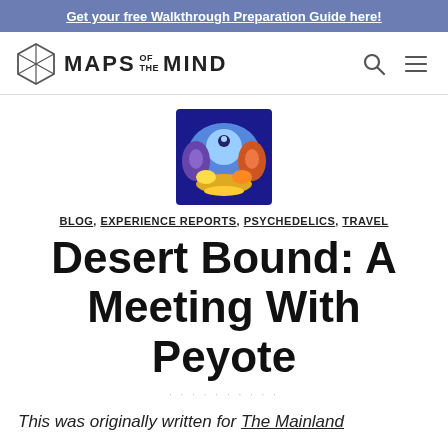Get your free Walkthrough Preparation Guide here!
[Figure (logo): Maps of the Mind logo with hexagonal geometric icon and site name]
[Figure (illustration): Colorful psychedelic art illustration showing faces and abstract figures in blue, orange, red tones]
BLOG, EXPERIENCE REPORTS, PSYCHEDELICS, TRAVEL
Desert Bound: A Meeting With Peyote
This was originally written for The Mainland